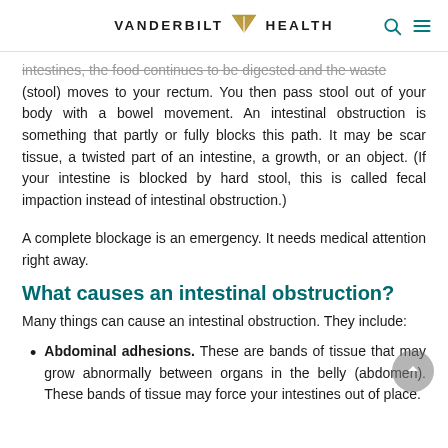VANDERBILT HEALTH
intestines, the food continues to be digested and the waste (stool) moves to your rectum. You then pass stool out of your body with a bowel movement. An intestinal obstruction is something that partly or fully blocks this path. It may be scar tissue, a twisted part of an intestine, a growth, or an object. (If your intestine is blocked by hard stool, this is called fecal impaction instead of intestinal obstruction.)
A complete blockage is an emergency. It needs medical attention right away.
What causes an intestinal obstruction?
Many things can cause an intestinal obstruction. They include:
Abdominal adhesions. These are bands of tissue that may grow abnormally between organs in the belly (abdomen). These bands of tissue may force your intestines out of place.